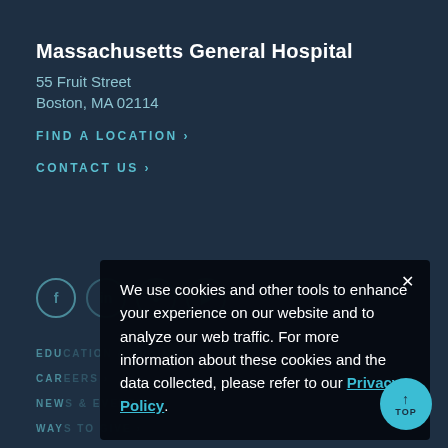Massachusetts General Hospital
55 Fruit Street
Boston, MA  02114
FIND A LOCATION ›
CONTACT US ›
EDUCATION & TRAINING ›
CAREERS ›
NEWS & EVENTS ›
WAYS TO GIVE ›
CENTERS & DEPARTMENTS ›
We use cookies and other tools to enhance your experience on our website and to analyze our web traffic. For more information about these cookies and the data collected, please refer to our Privacy Policy.